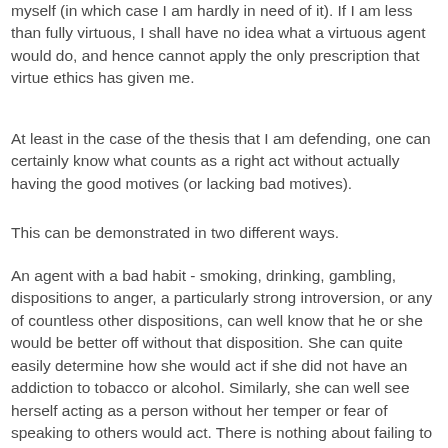myself (in which case I am hardly in need of it). If I am less than fully virtuous, I shall have no idea what a virtuous agent would do, and hence cannot apply the only prescription that virtue ethics has given me.
At least in the case of the thesis that I am defending, one can certainly know what counts as a right act without actually having the good motives (or lacking bad motives).
This can be demonstrated in two different ways.
An agent with a bad habit - smoking, drinking, gambling, dispositions to anger, a particularly strong introversion, or any of countless other dispositions, can well know that he or she would be better off without that disposition. She can quite easily determine how she would act if she did not have an addiction to tobacco or alcohol. Similarly, she can well see herself acting as a person without her temper or fear of speaking to others would act. There is nothing about failing to have a particular good motive, or having a bad motive, that prohibits an agent from imagining how one would act